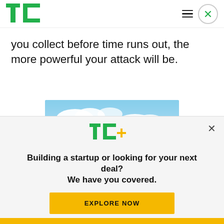TechCrunch
you collect before time runs out, the more powerful your attack will be.
[Figure (photo): Outdoor sky scene with blue sky, white clouds, and green treetops at the bottom]
TC+ Building a startup or looking for your next deal? We have you covered. EXPLORE NOW